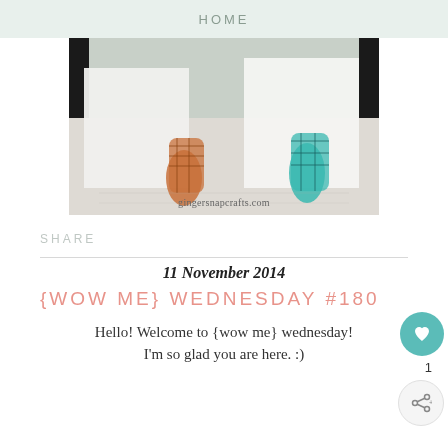HOME
[Figure (photo): Photo of two cats or animals with patterned scarves/fabric — one orange plaid and one teal/turquoise plaid — standing near white boards on a light surface. Watermark reads gingersnapcrafts.com]
SHARE
11 November 2014
{WOW ME} WEDNESDAY #180
Hello! Welcome to {wow me} wednesday! I'm so glad you are here. :)